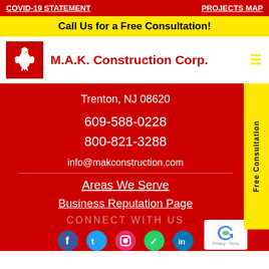COVID-19 STATEMENT | PROJECTS MAP
Call Us for a Free Consultation!
M.A.K. Construction Corp.
Trenton, NJ 08620
609-588-0228
800-821-3288
info@makconstruction.com
Areas We Serve
Business Reputation Page
CONNECT WITH US